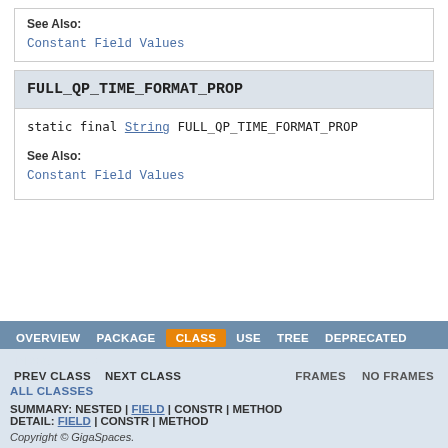See Also:
Constant Field Values
FULL_QP_TIME_FORMAT_PROP
static final String FULL_QP_TIME_FORMAT_PROP
See Also:
Constant Field Values
OVERVIEW  PACKAGE  CLASS  USE  TREE  DEPRECATED  INDEX  HELP  PREV CLASS  NEXT CLASS  FRAMES  NO FRAMES  ALL CLASSES  SUMMARY: NESTED | FIELD | CONSTR | METHOD  DETAIL: FIELD | CONSTR | METHOD  Copyright © GigaSpaces.